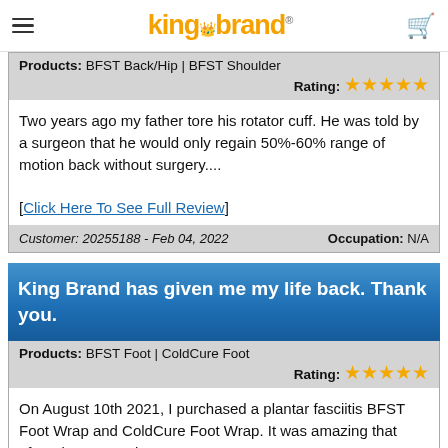King Brand (logo with crown and registered mark), hamburger menu, cart icon
Products: BFST Back/Hip | BFST Shoulder
Rating: ★★★★★
Two years ago my father tore his rotator cuff. He was told by a surgeon that he would only regain 50%-60% range of motion back without surgery.... [Click Here To See Full Review]
Customer: 20255188 - Feb 04, 2022    Occupation: N/A
King Brand has given me my life back. Thank you.
Products: BFST Foot | ColdCure Foot
Rating: ★★★★★
On August 10th 2021, I purchased a plantar fasciitis BFST Foot Wrap and ColdCure Foot Wrap. It was amazing that after about a week......